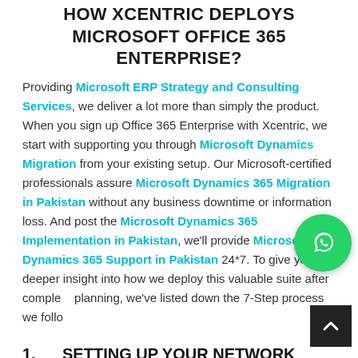HOW XCENTRIC DEPLOYS MICROSOFT OFFICE 365 ENTERPRISE?
Providing Microsoft ERP Strategy and Consulting Services, we deliver a lot more than simply the product. When you sign up Office 365 Enterprise with Xcentric, we start with supporting you through Microsoft Dynamics Migration from your existing setup. Our Microsoft-certified professionals assure Microsoft Dynamics 365 Migration in Pakistan without any business downtime or information loss. And post the Microsoft Dynamics 365 Implementation in Pakistan, we'll provide Microsoft Dynamics 365 Support in Pakistan 24*7. To give you a deeper insight into how we deploy this valuable suite after complete planning, we've listed down the 7-Step process we follow.
1.    SETTING UP YOUR NETWORK
An important part of your Office 365 Enterprise sign up is to